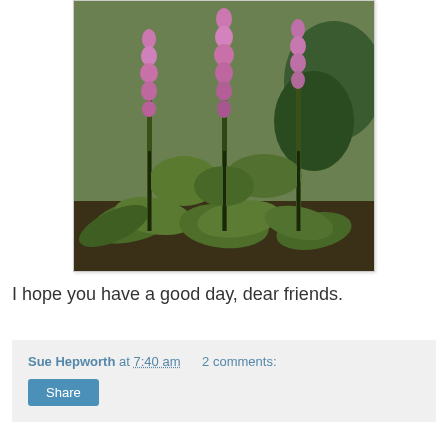[Figure (photo): Photograph of foxglove plants with tall pink/magenta flower spikes in a garden setting with green foliage and shrubs in the background.]
I hope you have a good day, dear friends.
Sue Hepworth at 7:40 am   2 comments:
Share